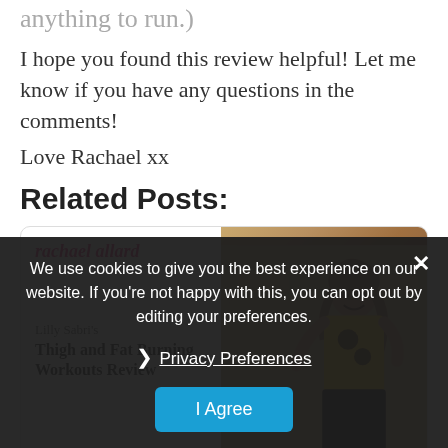anything to run.
I hope you found this review helpful! Let me know if you have any questions in the comments!
Love Rachael xx
Related Posts:
[Figure (other): Blog post card for 'Lilly Sabri's Thigh and Fat Burning Workouts Review' with rachael allard logo and a photo of a woman in a yellow sunflower top against a stone wall background]
We use cookies to give you the best experience on our website. If you're not happy with this, you can opt out by editing your preferences.
Privacy Preferences
I Agree